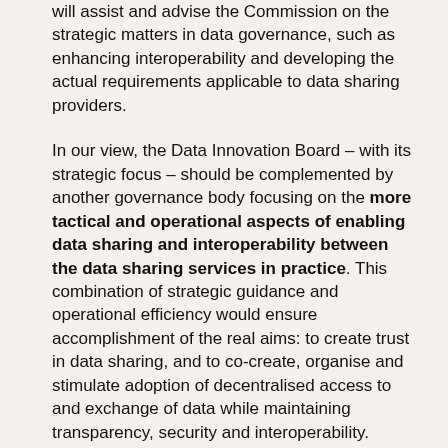will assist and advise the Commission on the strategic matters in data governance, such as enhancing interoperability and developing the actual requirements applicable to data sharing providers.
In our view, the Data Innovation Board – with its strategic focus – should be complemented by another governance body focusing on the more tactical and operational aspects of enabling data sharing and interoperability between the data sharing services in practice. This combination of strategic guidance and operational efficiency would ensure accomplishment of the real aims: to create trust in data sharing, and to co-create, organise and stimulate adoption of decentralised access to and exchange of data while maintaining transparency, security and interoperability.